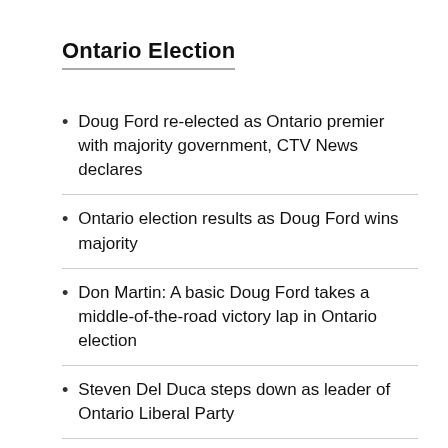Ontario Election
Doug Ford re-elected as Ontario premier with majority government, CTV News declares
Ontario election results as Doug Ford wins majority
Don Martin: A basic Doug Ford takes a middle-of-the-road victory lap in Ontario election
Steven Del Duca steps down as leader of Ontario Liberal Party
Andrea Horwath resigns as NDP party leader after Ontario election